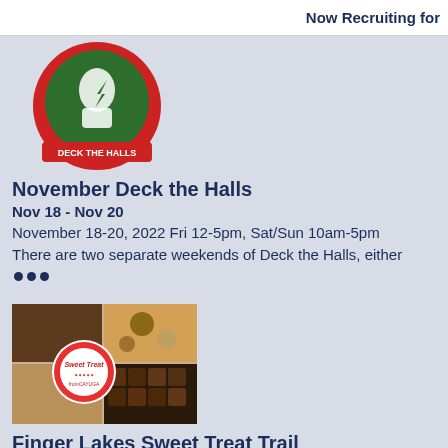Now Recruiting for
[Figure (logo): Deck the Halls event logo with green background and red border, text 'DECK THE HALLS']
November Deck the Halls
Nov 18 - Nov 20
November 18-20, 2022 Fri 12-5pm, Sat/Sun 10am-5pm
There are two separate weekends of Deck the Halls, either •••
[Figure (photo): Collage of food items with Sweet Treat Trail from Cayuga logo overlay]
Finger Lakes Sweet Treat Trail
Dec 1, 2022 - Jul 1, 2023
Recurring Event (See all)
The family-friendly Sweet Treat Trail is all about the